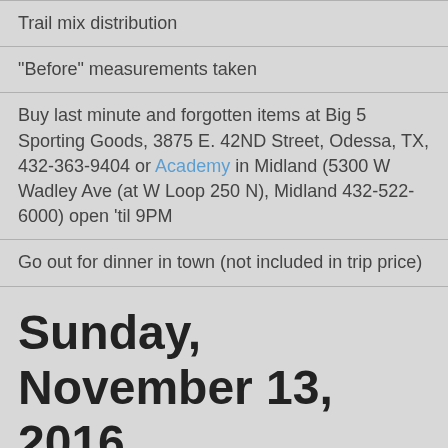Trail mix distribution
"Before" measurements taken
Buy last minute and forgotten items at Big 5 Sporting Goods, 3875 E. 42ND Street, Odessa, TX, 432-363-9404 or Academy in Midland (5300 W Wadley Ave (at W Loop 250 N), Midland 432-522-6000) open 'til 9PM
Go out for dinner in town (not included in trip price)
Sunday, November 13, 2016
Get up extremely early.
2nd set of "Before" measurements taken
All your off trail stuff will be transported to a